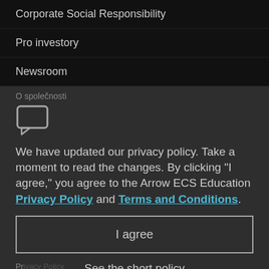Corporate Social Responsibility
Pro investory
Newsroom
O společnosti
[Figure (illustration): Chat/speech bubble icon outline in light grey]
We have updated our privacy policy. Take a moment to read the changes. By clicking "I agree," you agree to the Arrow ECS Education Privacy Policy and Terms and Conditions.
I agree
Privacy Policy
General Terms
See the short policy
Sales Terms